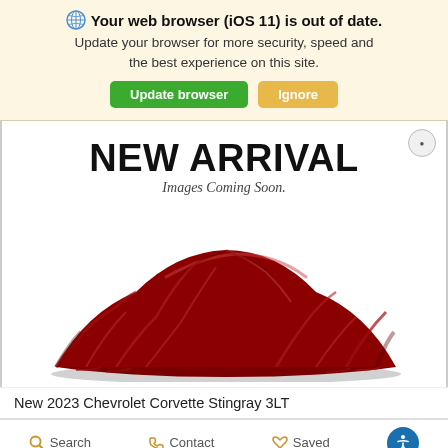Your web browser (iOS 11) is out of date. Update your browser for more security, speed and the best experience on this site.
Update browser | Ignore
[Figure (photo): New Arrival placeholder image showing a red draped cloth over a car silhouette with text 'NEW ARRIVAL' and 'Images Coming Soon.' on a white background]
New 2023 Chevrolet Corvette Stingray 3LT
Search   Contact   Saved   [Accessibility icon]